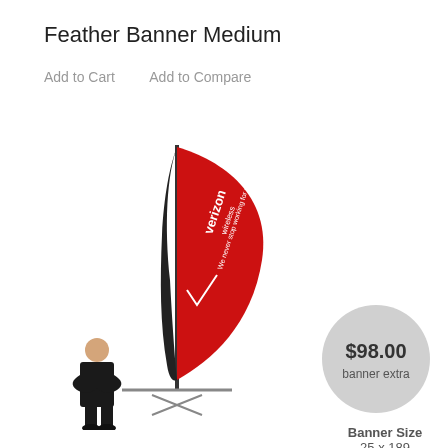Feather Banner Medium
Add to Cart    Add to Compare
[Figure (photo): A tall red feather banner with Verizon Wireless branding and a man standing next to it for scale. The banner is mounted on a cross-base stand.]
$98.00
banner extra
Banner Size
25 x 189